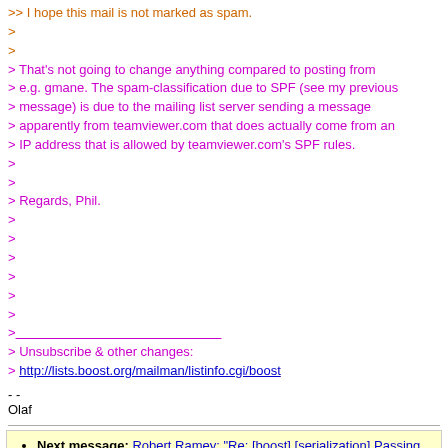>> I hope this mail is not marked as spam.
>
>
> That's not going to change anything compared to posting from
> e.g. gmane. The spam-classification due to SPF (see my previous
> message) is due to the mailing list server sending a message
> apparently from teamviewer.com that does actually come from an
> IP address that is allowed by teamviewer.com's SPF rules.
>
>
> Regards, Phil.
>
>
>
>
>
>
>
> ___________________________________
> Unsubscribe & other changes:
> http://lists.boost.org/mailman/listinfo.cgi/boost
- -
Olaf
Next message: Robert Ramey: "Re: [boost] [serialization] Passing literals to oarchive"
Previous message: Aditya Avinash Atluri: "[boost] GSoC 2015 Boost Compute Proposal"
In reply to: Phil Endecott: "Re: [boost] Messages from list marked as spam"
Next in thread: Olaf van der Spek: "Re: [boost] Messages from list